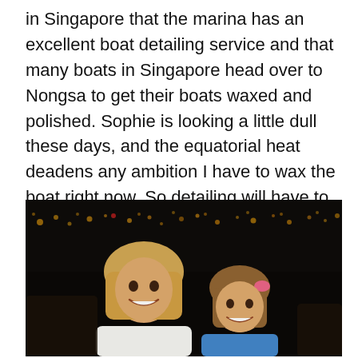in Singapore that the marina has an excellent boat detailing service and that many boats in Singapore head over to Nongsa to get their boats waxed and polished. Sophie is looking a little dull these days, and the equatorial heat deadens any ambition I have to wax the boat right now. So detailing will have to wait until Thailand. The people from Nongsa handled our Indonesia immigration and customs clearance for us. That in and of itself made this an excellent stop.
[Figure (photo): Two young girls smiling at the camera at night, with lights and a marina visible in the dark background. The girl on the left has curly blonde hair and wears a white top; the girl on the right is smaller with a pink hair accessory and wears a blue top.]